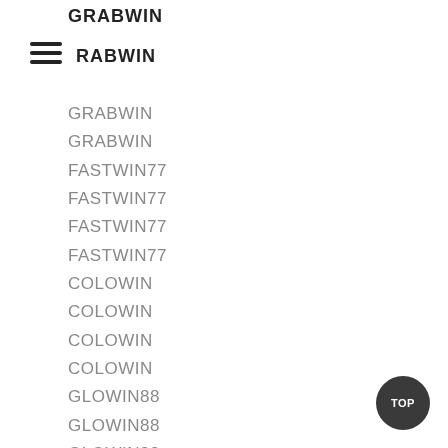GRABWIN
RABWIN
GRABWIN
GRABWIN
FASTWIN77
FASTWIN77
FASTWIN77
FASTWIN77
COLOWIN
COLOWIN
COLOWIN
COLOWIN
GLOWIN88
GLOWIN88
GLOWIN88
GLOWIN88
KLIKME88
KLIKME88
KLIKME88